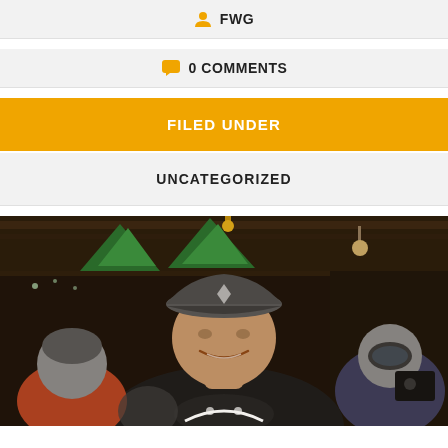FWG
0 COMMENTS
FILED UNDER
UNCATEGORIZED
[Figure (photo): A smiling man wearing a dark baseball cap with a logo and a black t-shirt with a graphic, standing in a bar or restaurant setting with green pendant lamps and other people visible in the background.]